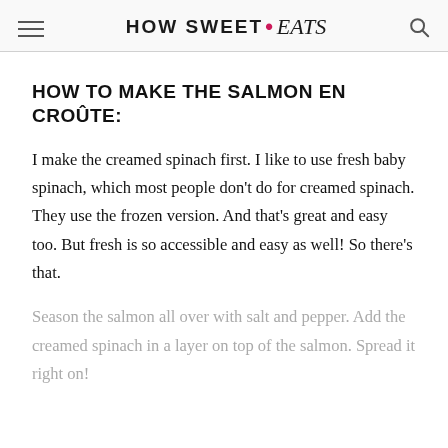HOW SWEET • eats
HOW TO MAKE THE SALMON EN CROÛTE:
I make the creamed spinach first. I like to use fresh baby spinach, which most people don't do for creamed spinach. They use the frozen version. And that's great and easy too. But fresh is so accessible and easy as well! So there's that.
Season the salmon all over with salt and pepper. Add the creamed spinach in a layer on top of the salmon. Spread it right on!